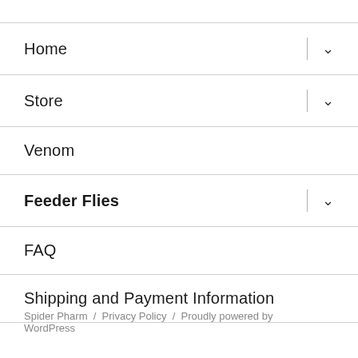Home
Store
Venom
Feeder Flies
FAQ
Shipping and Payment Information
Spider Pharm / Privacy Policy / Proudly powered by WordPress